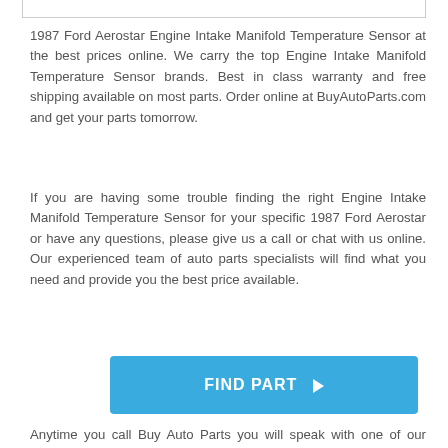1987 Ford Aerostar Engine Intake Manifold Temperature Sensor at the best prices online. We carry the top Engine Intake Manifold Temperature Sensor brands. Best in class warranty and free shipping available on most parts. Order online at BuyAutoParts.com and get your parts tomorrow.
If you are having some trouble finding the right Engine Intake Manifold Temperature Sensor for your specific 1987 Ford Aerostar or have any questions, please give us a call or chat with us online. Our experienced team of auto parts specialists will find what you need and provide you the best price available.
[Figure (other): Blue button with white text reading FIND PART and a right-pointing triangle]
Anytime you call Buy Auto Parts you will speak with one of our engine intake manifold temperature sensor specialists located in